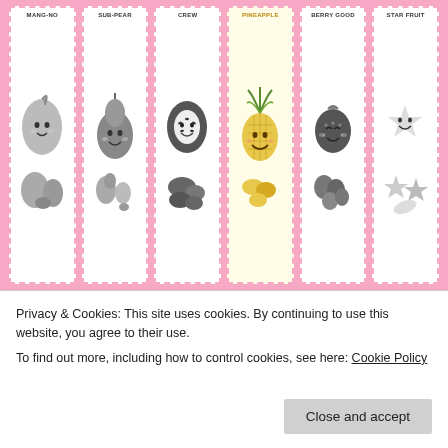[Figure (illustration): Six kawaii-style fruit cards on a pink background. Labels: MANG-NO, SUB-PEAR, CREW, PINEAPPLE, BERRY GOOD, STAR FRUIT. Each card shows a cute cartoon of the fruit (mango, pear, kiwi, pineapple, strawberry, star fruit) with kawaii faces, plus realistic fruit photos at the bottom.]
Advertisements
[Figure (screenshot): Advertisement box with light blue-grey background showing text: 'Build a writing habit. Post on' (text cut off)]
Privacy & Cookies: This site uses cookies. By continuing to use this website, you agree to their use.
To find out more, including how to control cookies, see here: Cookie Policy
Close and accept